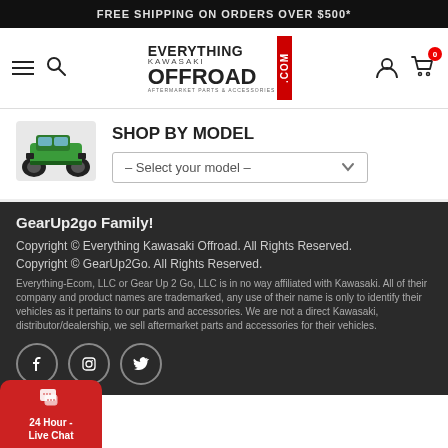FREE SHIPPING ON ORDERS OVER $500*
[Figure (logo): Everything Kawasaki Offroad .com logo with hamburger menu, search icon, user icon, and cart icon showing 0 items]
SHOP BY MODEL
[Figure (photo): Green Kawasaki ATV/UTV side by side vehicle]
– Select your model –
GearUp2go Family!
Copyright © Everything Kawasaki Offroad. All Rights Reserved.
Copyright © GearUp2Go. All Rights Reserved.
Everything-Ecom, LLC or Gear Up 2 Go, LLC is in no way affiliated with Kawasaki. All of their company and product names are trademarked, any use of their name is only to identify their vehicles as it pertains to our parts and accessories. We are not a direct Kawasaki, distributor/dealership, we sell aftermarket parts and accessories for their vehicles.
[Figure (infographic): Social media icons: Facebook, Instagram, Twitter in circular outlines]
24 Hour - Live Chat